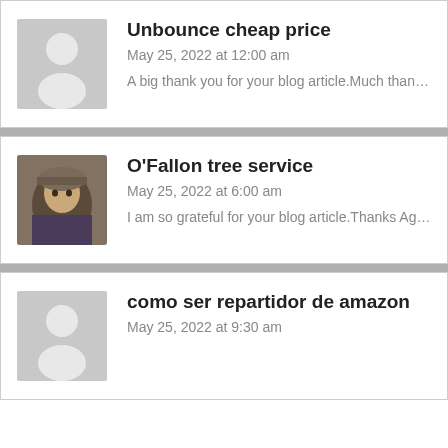[Figure (illustration): Grey placeholder avatar silhouette for comment 1]
Unbounce cheap price
May 25, 2022 at 12:00 am
A big thank you for your blog article.Much thanks a
[Figure (photo): Profile photo of a person wearing a hat for O'Fallon tree service comment]
O’Fallon tree service
May 25, 2022 at 6:00 am
I am so grateful for your blog article.Thanks Again.
[Figure (illustration): Grey placeholder avatar silhouette for comment 3]
como ser repartidor de amazon
May 25, 2022 at 9:30 am